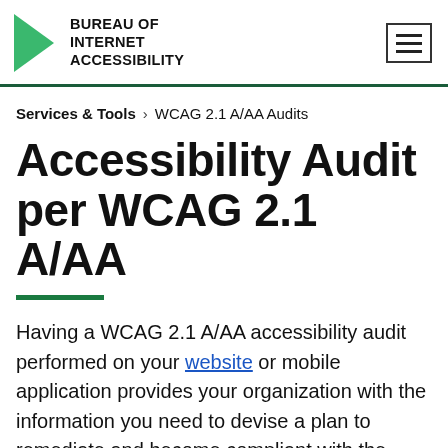BUREAU OF INTERNET ACCESSIBILITY
Services & Tools › WCAG 2.1 A/AA Audits
Accessibility Audit per WCAG 2.1 A/AA
Having a WCAG 2.1 A/AA accessibility audit performed on your website or mobile application provides your organization with the information you need to devise a plan to remediate and become compliant with the